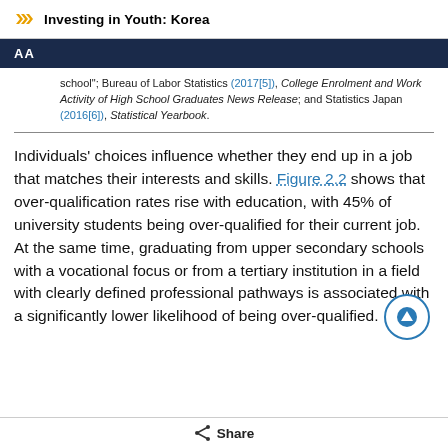Investing in Youth: Korea
school"; Bureau of Labor Statistics (2017[5]), College Enrolment and Work Activity of High School Graduates News Release; and Statistics Japan (2016[6]), Statistical Yearbook.
Individuals' choices influence whether they end up in a job that matches their interests and skills. Figure 2.2 shows that over-qualification rates rise with education, with 45% of university students being over-qualified for their current job. At the same time, graduating from upper secondary schools with a vocational focus or from a tertiary institution in a field with clearly defined professional pathways is associated with a significantly lower likelihood of being over-qualified.
Share